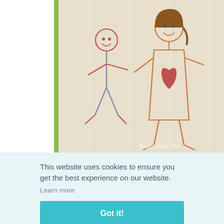[Figure (photo): A fabric/embroidered drawing showing two stick figures — a child and a mother/adult holding a red heart, on a light cream fabric background. A partial green/yellow border is visible on the left edge. Watermark reads 'Sugarlane Des' at bottom right.]
This website uses cookies to ensure you get the best experience on our website.
Learn more
Got it!
others' Da
year.  I hop